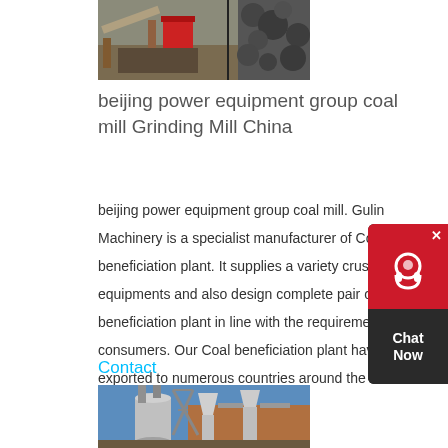[Figure (photo): Mining/quarry equipment photo showing crushers and rocks]
beijing power equipment group coal mill Grinding Mill China
beijing power equipment group coal mill. Gulin Machinery is a specialist manufacturer of Coal beneficiation plant. It supplies a variety crusher equipments and also design complete pair of Coal beneficiation plant in line with the requirements of consumers. Our Coal beneficiation plant have exported to numerous countries around the world.
Contact
[Figure (photo): Industrial grinding mill equipment outdoors with silos and metal structures]